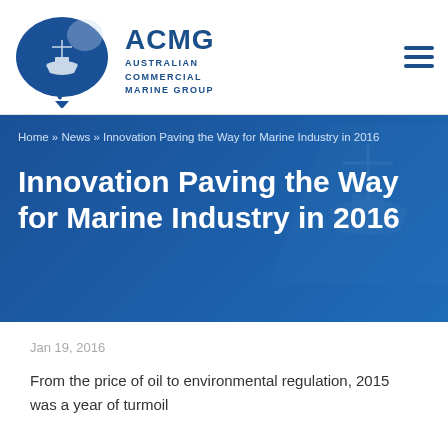[Figure (logo): ACMG Australian Commercial Marine Group logo with ship silhouette inside Australia map shape]
ACMG AUSTRALIAN COMMERCIAL MARINE GROUP
Home » News » Innovation Paving the Way for Marine Industry in 2016
Innovation Paving the Way for Marine Industry in 2016
Jan 19, 2016
From the price of oil to environmental regulation, 2015 was a year of turmoil